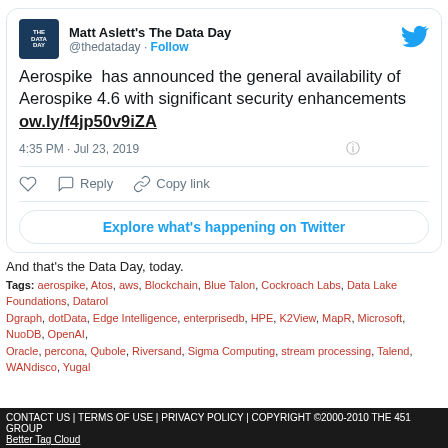[Figure (screenshot): Tweet card from Matt Aslett's The Data Day (@thedataday) with Twitter bird logo, avatar, Follow button, tweet text about Aerospike 4.6, timestamp, action buttons, and Explore button]
And that's the Data Day, today.
Tags: aerospike, Atos, aws, Blockchain, Blue Talon, Cockroach Labs, Data Lake Foundations, Datarob Dgraph, dotData, Edge Intelligence, enterprisedb, HPE, K2View, MapR, Microsoft, NuoDB, OpenAI, Oracle, percona, Qubole, Riversand, Sigma Computing, stream processing, Talend, WANdisco, Yugal
CONTACT US | TERMS OF USE | PRIVACY POLICY | COPYRIGHT ©2000-2010 THE 451 GROUP
Better Tag Cloud